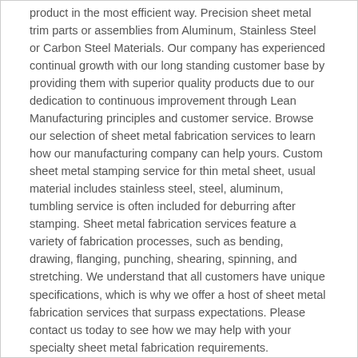product in the most efficient way. Precision sheet metal trim parts or assemblies from Aluminum, Stainless Steel or Carbon Steel Materials. Our company has experienced continual growth with our long standing customer base by providing them with superior quality products due to our dedication to continuous improvement through Lean Manufacturing principles and customer service. Browse our selection of sheet metal fabrication services to learn how our manufacturing company can help yours. Custom sheet metal stamping service for thin metal sheet, usual material includes stainless steel, steel, aluminum, tumbling service is often included for deburring after stamping. Sheet metal fabrication services feature a variety of fabrication processes, such as bending, drawing, flanging, punching, shearing, spinning, and stretching. We understand that all customers have unique specifications, which is why we offer a host of sheet metal fabrication services that surpass expectations. Please contact us today to see how we may help with your specialty sheet metal fabrication requirements.